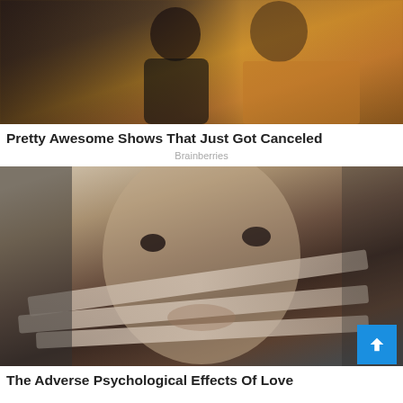[Figure (photo): Two people posing together in what appears to be a TV show setting — a man in a black shirt and a woman in a yellow outfit]
Pretty Awesome Shows That Just Got Canceled
Brainberries
[Figure (photo): Close-up artistic photo of a person's face with tape-like bands across it, creating a surreal visual effect, dark background]
The Adverse Psychological Effects Of Love